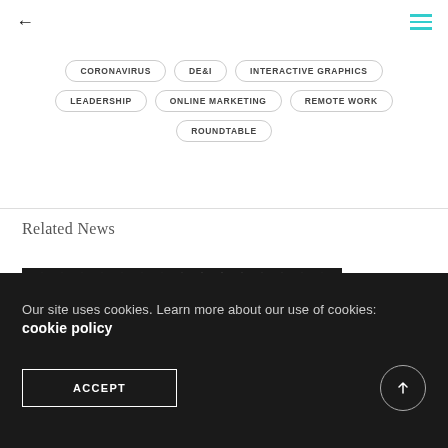← (back arrow) | ≡ (menu)
CORONAVIRUS
DE&I
INTERACTIVE GRAPHICS
LEADERSHIP
ONLINE MARKETING
REMOTE WORK
ROUNDTABLE
Related News
[Figure (photo): Dark hexagonal mesh/grid texture, black and grey abstract background]
Our site uses cookies. Learn more about our use of cookies: cookie policy
ACCEPT